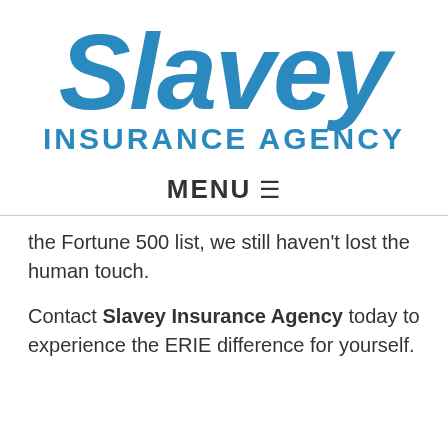[Figure (logo): Slavey Insurance Agency logo with large blue italic 'Slavey' text and 'INSURANCE AGENCY' in blue capitals below]
MENU ☰
the Fortune 500 list, we still haven't lost the human touch.
Contact Slavey Insurance Agency today to experience the ERIE difference for yourself.